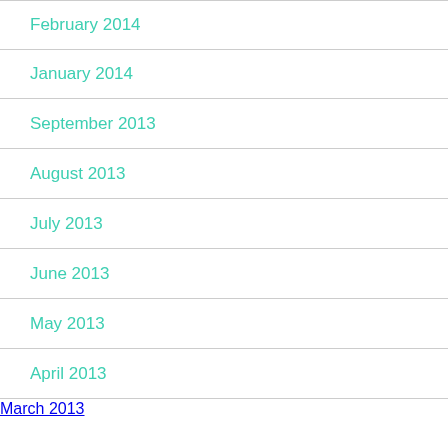February 2014
January 2014
September 2013
August 2013
July 2013
June 2013
May 2013
April 2013
March 2013